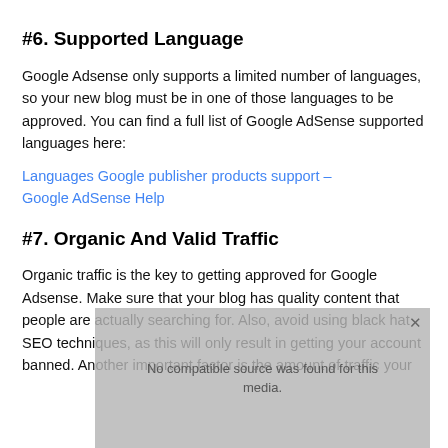#6. Supported Language
Google Adsense only supports a limited number of languages, so your new blog must be in one of those languages to be approved. You can find a full list of Google AdSense supported languages here:
Languages Google publisher products support – Google AdSense Help
#7. Organic And Valid Traffic
Organic traffic is the key to getting approved for Google Adsense. Make sure that your blog has quality content that people are actually searching for. Also, avoid using black hat SEO techniques, as this will only result in getting your account banned. Another important factor is the amount of traffic your